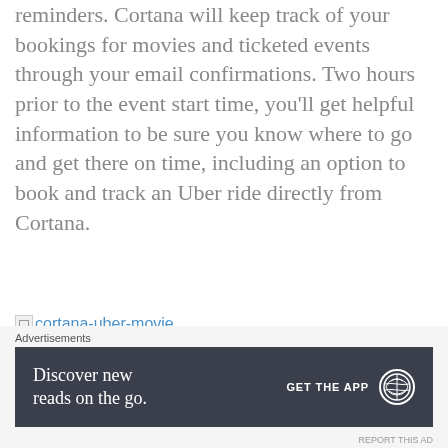reminders. Cortana will keep track of your bookings for movies and ticketed events through your email confirmations. Two hours prior to the event start time, you'll get helpful information to be sure you know where to go and get there on time, including an option to book and track an Uber ride directly from Cortana.
[Figure (other): Broken image placeholder with alt text 'cortana-uber-movie' shown as blue hyperlink text]
Advertisements
[Figure (other): Advertisement banner with dark background reading 'Discover new reads on the go.' with 'GET THE APP' call to action and WordPress logo]